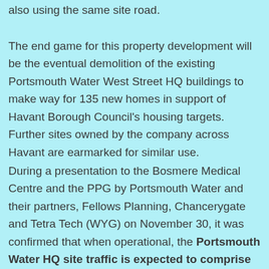also using the same site road.
The end game for this property development will be the eventual demolition of the existing Portsmouth Water West Street HQ buildings to make way for 135 new homes in support of Havant Borough Council's housing targets. Further sites owned by the company across Havant are earmarked for similar use.
During a presentation to the Bosmere Medical Centre and the PPG by Portsmouth Water and their partners, Fellows Planning, Chancerygate and Tetra Tech (WYG) on November 30, it was confirmed that when operational, the Portsmouth Water HQ site traffic is expected to comprise circa 100 vehicles entering during the morning traffic